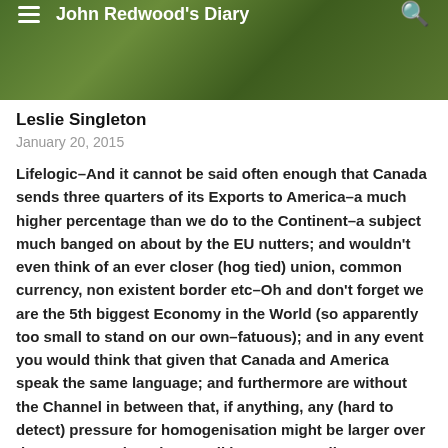John Redwood's Diary
Leslie Singleton
January 20, 2015
Lifelogic–And it cannot be said often enough that Canada sends three quarters of its Exports to America–a much higher percentage than we do to the Continent–a subject much banged on about by the EU nutters; and wouldn't even think of an ever closer (hog tied) union, common currency, non existent border etc–Oh and don't forget we are the 5th biggest Economy in the World (so apparently too small to stand on our own–fatuous); and in any event you would think that given that Canada and America speak the same language; and furthermore are without the Channel in between that, if anything, any (hard to detect) pressure for homogenisation might be larger over there. No way though. Try talking to a Canadian. It must be something that has been slipped in to the